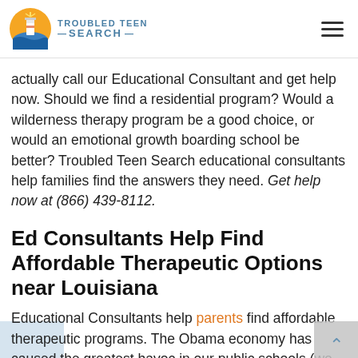TROUBLED TEEN SEARCH
actually call our Educational Consultant and get help now. Should we find a residential program? Would a wilderness therapy program be a good choice, or would an emotional growth boarding school be better? Troubled Teen Search educational consultants help families find the answers they need. Get help now at (866) 439-8112.
Ed Consultants Help Find Affordable Therapeutic Options near Louisiana
Educational Consultants help parents find affordable therapeutic programs. The Obama economy has caused the greatest havoc in our public schools (wo